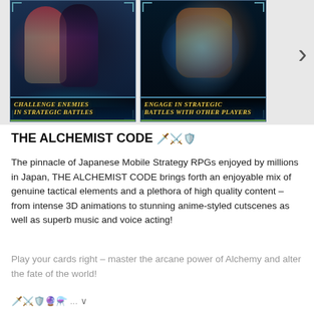[Figure (screenshot): Two game screenshots side by side showing anime RPG characters and battle scenes. Left screenshot shows two characters with text 'Challenge Enemies in Strategic Battles'. Right screenshot shows a battle scene with text 'Engage in Strategic Battles with other Players'. A right-pointing chevron navigation arrow appears to the right of the screenshots.]
THE ALCHEMIST CODE 🗡️⚔️🛡️
The pinnacle of Japanese Mobile Strategy RPGs enjoyed by millions in Japan, THE ALCHEMIST CODE brings forth an enjoyable mix of genuine tactical elements and a plethora of high quality content – from intense 3D animations to stunning anime-styled cutscenes as well as superb music and voice acting!
Play your cards right – master the arcane power of Alchemy and alter the fate of the world!
🗡️⚔️🛡️🔮⚗️... ∨